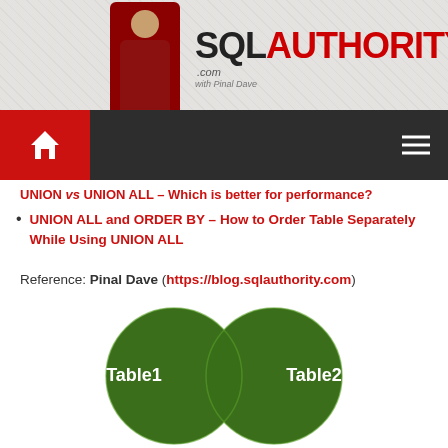[Figure (logo): SQL Authority website banner with person photo and SQL AUTHORITY logo text]
[Figure (other): Dark navigation bar with red home button and hamburger menu icon]
UNION ALL and ORDER BY – How to Order Table Separately While Using UNION ALL
Reference: Pinal Dave (https://blog.sqlauthority.com)
[Figure (other): Venn diagram showing two overlapping dark green circles labeled Table1 and Table2]